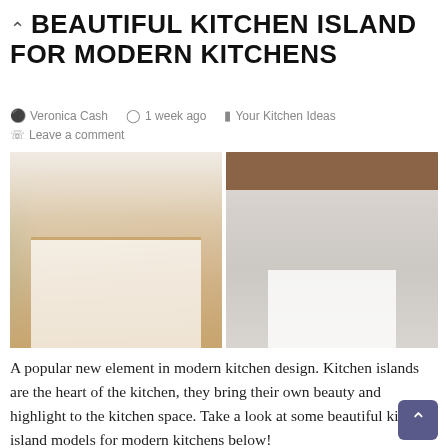5 BEAUTIFUL KITCHEN ISLAND FOR MODERN KITCHENS
Veronica Cash   1 week ago   Your Kitchen Ideas
Leave a comment
[Figure (photo): Two side-by-side photos of modern kitchen islands. Left photo shows a white kitchen with wooden island countertop, bar stools, upper cabinets with glass fronts, and plants. Right photo shows a minimalist white kitchen island with white stools, wooden beam ceiling accent, and tiled backsplash.]
A popular new element in modern kitchen design. Kitchen islands are the heart of the kitchen, they bring their own beauty and highlight to the kitchen space. Take a look at some beautiful kitchen island models for modern kitchens below!